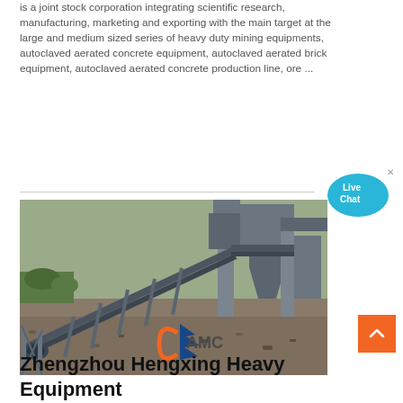is a joint stock corporation integrating scientific research, manufacturing, marketing and exporting with the main target at the large and medium sized series of heavy duty mining equipments, autoclaved aerated concrete equipment, autoclaved aerated brick equipment, autoclaved aerated concrete production line, ore ...
[Figure (photo): Photograph of heavy industrial mining conveyor belt equipment installed at an outdoor site with steel framework structures, gravel ground, and greenery in background. AMC logo watermark visible on photo.]
Zhengzhou Hengxing Heavy Equipment